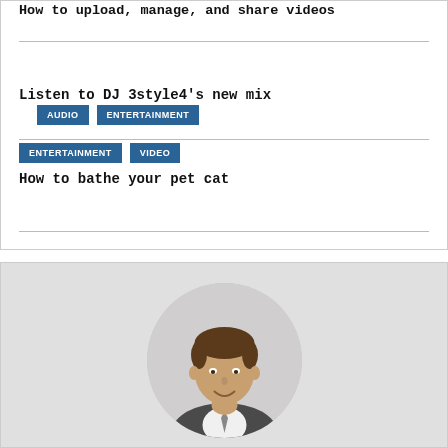How to upload, manage, and share videos
AUDIO  ENTERTAINMENT
Listen to DJ 3style4's new mix
ENTERTAINMENT  VIDEO
How to bathe your pet cat
[Figure (photo): Circular portrait photo of a smiling man in a suit, dark brown hair, on a light grey background]